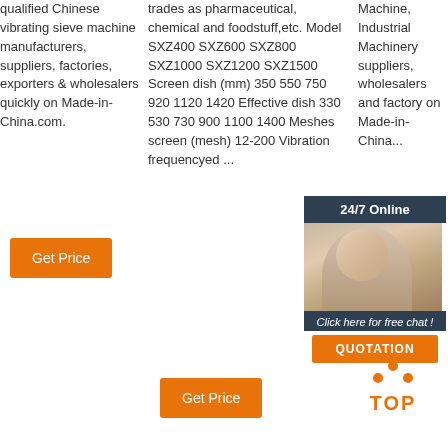qualified Chinese vibrating sieve machine manufacturers, suppliers, factories, exporters & wholesalers quickly on Made-in-China.com.
Get Price
trades as pharmaceutical, chemical and foodstuff,etc. Model SXZ400 SXZ600 SXZ800 SXZ1000 SXZ1200 SXZ1500 Screen dish (mm) 350 550 750 920 1120 1420 Effective dish 330 530 730 900 1100 1400 Meshes screen (mesh) 12-200 Vibration frequencyed ...
Get Price
Machine, Industrial Machinery suppliers, wholesalers and factory on Made-in-China...
[Figure (other): 24/7 Online chat widget with customer service agent photo, 'Click here for free chat!' text, and QUOTATION button]
[Figure (other): TOP button with orange dots arrow pointing up]